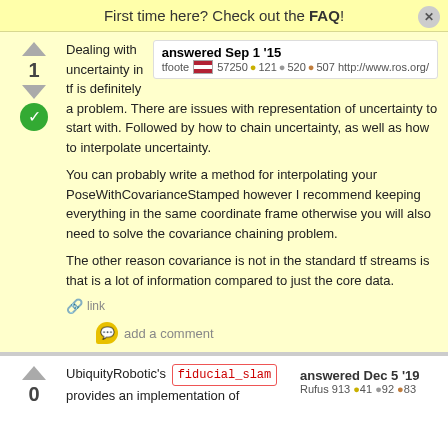First time here? Check out the FAQ!
1
answered Sep 1 '15
tfoote 57250 •121 •520 •507 http://www.ros.org/
Dealing with uncertainty in tf is definitely a problem. There are issues with representation of uncertainty to start with. Followed by how to chain uncertainty, as well as how to interpolate uncertainty.

You can probably write a method for interpolating your PoseWithCovarianceStamped however I recommend keeping everything in the same coordinate frame otherwise you will also need to solve the covariance chaining problem.

The other reason covariance is not in the standard tf streams is that is a lot of information compared to just the core data.

link
add a comment
0
answered Dec 5 '19
Rufus 913 •41 •92 •83
UbiquityRobotic's fiducial_slam provides an implementation of